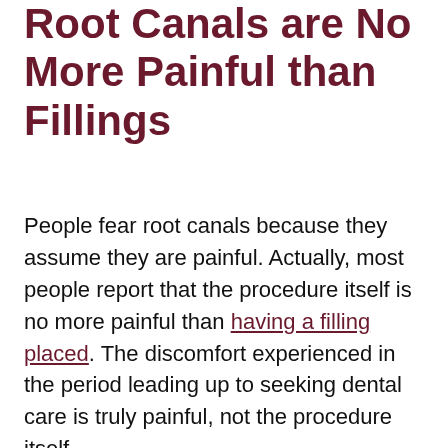Root Canals are No More Painful than Fillings
People fear root canals because they assume they are painful. Actually, most people report that the procedure itself is no more painful than having a filling placed. The discomfort experienced in the period leading up to seeking dental care is truly painful, not the procedure itself.
Following root canal therapy a tooth should be protected with a crown that covers the cusps of the tooth. This is